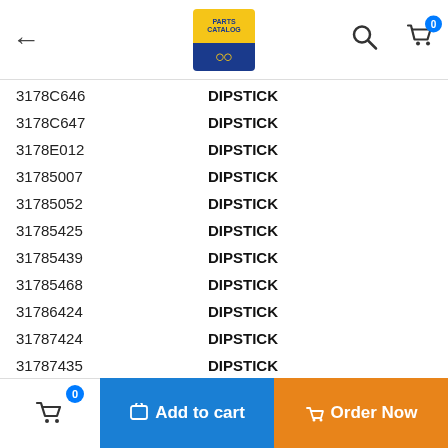Navigation bar with back arrow, product logo, search and cart icons
| Part Number | Description |
| --- | --- |
| 3178C646 | DIPSTICK |
| 3178C647 | DIPSTICK |
| 3178E012 | DIPSTICK |
| 31785007 | DIPSTICK |
| 31785052 | DIPSTICK |
| 31785425 | DIPSTICK |
| 31785439 | DIPSTICK |
| 31785468 | DIPSTICK |
| 31786424 | DIPSTICK |
| 31787424 | DIPSTICK |
| 31787435 | DIPSTICK |
| 31787437 | DIPSTICK |
| 31788327 | DIPSTICK |
| 31788328 | DIPSTICK |
| 31788343 | DIPSTICK |
| 31788348 | DIPSTICK |
| 31788387 | DIPSTICK |
| 3577A153 | DIPSTICK TUBE |
Cart 0 | Add to cart | Order Now